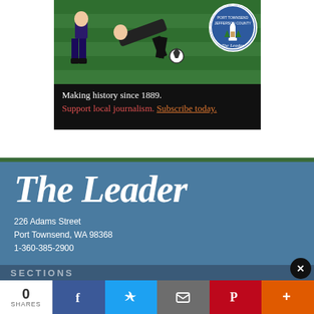[Figure (illustration): Newspaper advertisement for The Leader. Shows soccer players on a green field at top, with The Leader circular logo in upper right. Dark background with text: 'Making history since 1889.' and 'Support local journalism. Subscribe today.' in red/orange text.]
The Leader
226 Adams Street
Port Townsend, WA 98368
1-360-385-2900
0 SHARES